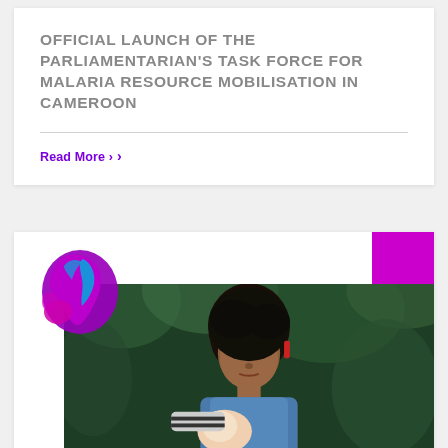OFFICIAL LAUNCH OF THE PARLIAMENTARIAN'S TASK FORCE FOR MALARIA RESOURCE MOBILISATION IN CAMEROON
Read More >
[Figure (photo): Photo of a young African woman looking down, possibly at a baby, wearing a denim shirt, outdoors with green foliage in the background. An Africa map logo graphic in purple, magenta and blue is overlaid at the top left. A magenta vertical bar decorates the right side.]